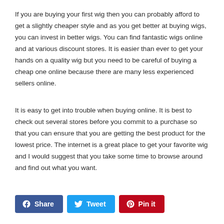If you are buying your first wig then you can probably afford to get a slightly cheaper style and as you get better at buying wigs, you can invest in better wigs. You can find fantastic wigs online and at various discount stores. It is easier than ever to get your hands on a quality wig but you need to be careful of buying a cheap one online because there are many less experienced sellers online.
It is easy to get into trouble when buying online. It is best to check out several stores before you commit to a purchase so that you can ensure that you are getting the best product for the lowest price. The internet is a great place to get your favorite wig and I would suggest that you take some time to browse around and find out what you want.
[Figure (other): Social sharing buttons: Facebook Share, Twitter Tweet, Pinterest Pin it]